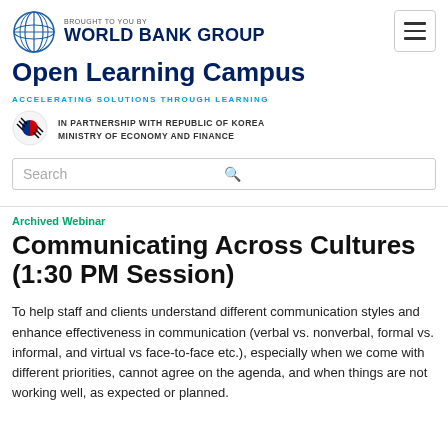[Figure (logo): World Bank Group globe logo with 'BROUGHT TO YOU BY' text above and 'WORLD BANK GROUP' in bold navy text]
Open Learning Campus
ACCELERATING SOLUTIONS THROUGH LEARNING
[Figure (logo): Republic of Korea Ministry of Economy and Finance logo — circular red and blue taeguk symbol]
IN PARTNERSHIP WITH REPUBLIC OF KOREA MINISTRY OF ECONOMY AND FINANCE
Search
Archived Webinar
Communicating Across Cultures (1:30 PM Session)
To help staff and clients understand different communication styles and enhance effectiveness in communication (verbal vs. nonverbal, formal vs. informal, and virtual vs face-to-face etc.), especially when we come with different priorities, cannot agree on the agenda, and when things are not working well, as expected or planned.